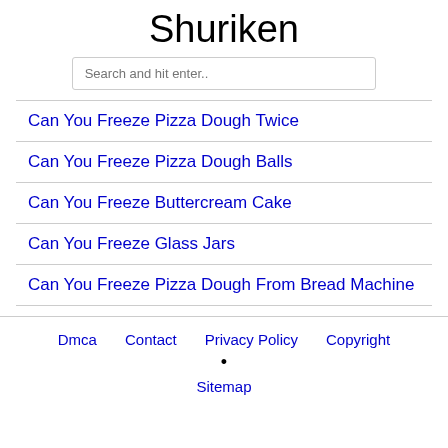Shuriken
Search and hit enter..
Can You Freeze Pizza Dough Twice
Can You Freeze Pizza Dough Balls
Can You Freeze Buttercream Cake
Can You Freeze Glass Jars
Can You Freeze Pizza Dough From Bread Machine
Dmca   Contact   Privacy Policy   Copyright • Sitemap